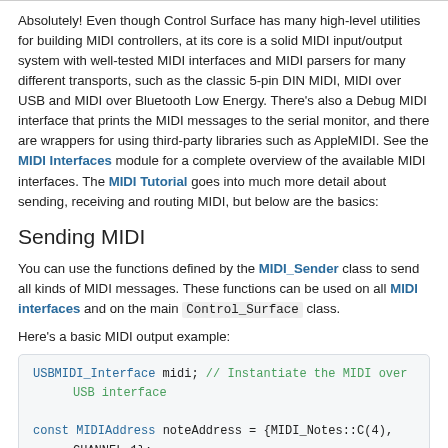Absolutely! Even though Control Surface has many high-level utilities for building MIDI controllers, at its core is a solid MIDI input/output system with well-tested MIDI interfaces and MIDI parsers for many different transports, such as the classic 5-pin DIN MIDI, MIDI over USB and MIDI over Bluetooth Low Energy. There's also a Debug MIDI interface that prints the MIDI messages to the serial monitor, and there are wrappers for using third-party libraries such as AppleMIDI. See the MIDI Interfaces module for a complete overview of the available MIDI interfaces. The MIDI Tutorial goes into much more detail about sending, receiving and routing MIDI, but below are the basics:
Sending MIDI
You can use the functions defined by the MIDI_Sender class to send all kinds of MIDI messages. These functions can be used on all MIDI interfaces and on the main Control_Surface class.
Here's a basic MIDI output example:
[Figure (screenshot): Code block showing MIDI output example: USBMIDI_Interface midi; // Instantiate the MIDI over USB interface

const MIDIAddress noteAddress = {MIDI_Notes::C(4), CHANNEL_1};
const uint8_t velocity = 0x7F;]